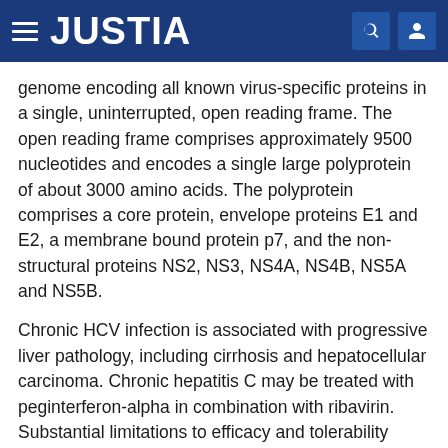JUSTIA
genome encoding all known virus-specific proteins in a single, uninterrupted, open reading frame. The open reading frame comprises approximately 9500 nucleotides and encodes a single large polyprotein of about 3000 amino acids. The polyprotein comprises a core protein, envelope proteins E1 and E2, a membrane bound protein p7, and the non-structural proteins NS2, NS3, NS4A, NS4B, NS5A and NS5B.
Chronic HCV infection is associated with progressive liver pathology, including cirrhosis and hepatocellular carcinoma. Chronic hepatitis C may be treated with peginterferon-alpha in combination with ribavirin. Substantial limitations to efficacy and tolerability remain as many users suffer from side effects, and viral elimination from the body is often incomplete. Therefore, there is a need for new drugs to treat HCV